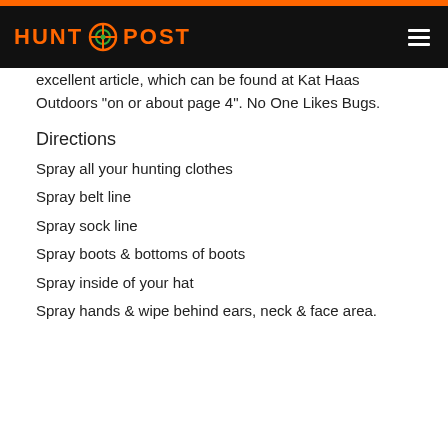HUNT POST
excellent article, which can be found at Kat Haas Outdoors "on or about page 4". No One Likes Bugs.
Directions
Spray all your hunting clothes
Spray belt line
Spray sock line
Spray boots & bottoms of boots
Spray inside of your hat
Spray hands & wipe behind ears, neck & face area.